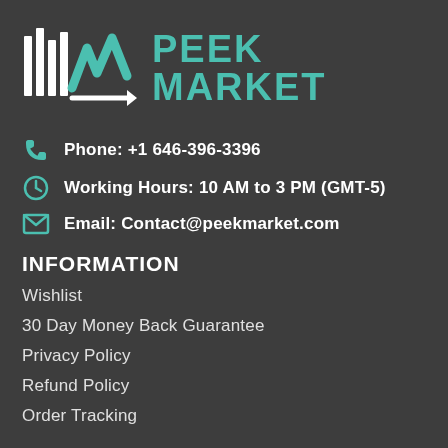[Figure (logo): Peek Market logo with abstract chart icon in teal/white and PEEK MARKET text in teal]
Phone: +1 646-396-3396
Working Hours: 10 AM to 3 PM (GMT-5)
Email: Contact@peekmarket.com
INFORMATION
Wishlist
30 Day Money Back Guarantee
Privacy Policy
Refund Policy
Order Tracking